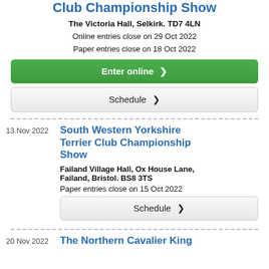Club Championship Show
The Victoria Hall, Selkirk. TD7 4LN
Online entries close on 29 Oct 2022
Paper entries close on 18 Oct 2022
Enter online ❯
Schedule ❯
13 Nov 2022
South Western Yorkshire Terrier Club Championship Show
Failand Village Hall, Ox House Lane, Failand, Bristol. BS8 3TS
Paper entries close on 15 Oct 2022
Schedule ❯
20 Nov 2022
The Northern Cavalier King